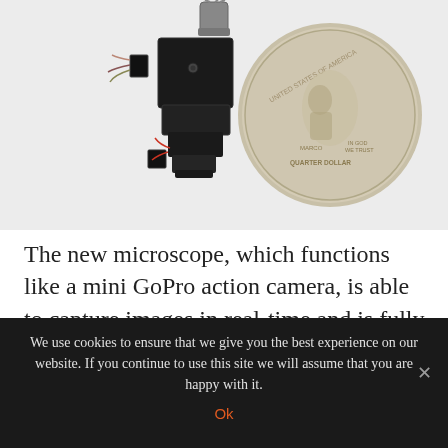[Figure (photo): Photo of a miniature microscope device (resembling a tiny camera with wires and mechanical components) placed next to a US quarter coin for size comparison, on a white background.]
The new microscope, which functions like a mini GoPro action camera, is able to capture images in real-time and is fully portable. This eliminates the need to anesthetize animals for imaging, allowing researchers to observe disease changes in a more natural state and relate such
We use cookies to ensure that we give you the best experience on our website. If you continue to use this site we will assume that you are happy with it.
Ok